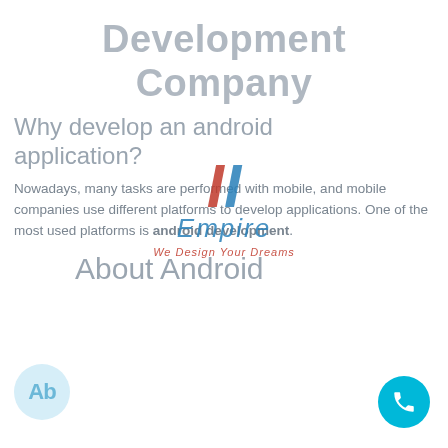Development Company
[Figure (logo): IT Empire logo watermark with stylized II letters in red and blue, 'Empire' text in blue italic, tagline 'We Design Your Dreams' in red italic]
Why develop an android application?
Nowadays, many tasks are performed with mobile, and mobile companies use different platforms to develop applications. One of the most used platforms is android development.
About Android